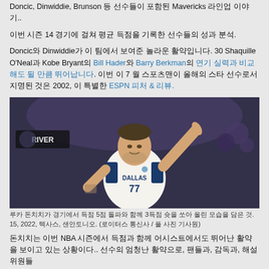Doncic, Dinwiddie, Brunson 등 선수들이 포함된 Mavericks 라인업 이야기..
이번 시즌 14 경기에 걸쳐 평균 득점을 기록한 선수들의 성과 분석.
Doncic와 Dinwiddie가 이 팀에서 보여준 놀라운 활약입니다. 30 Shaquille O'Neal과 Kobe Bryant의 Bill Hader와 Barry Berkman의 연기 실력과 비교해도 될 만큼 뛰어납니다. 지난 이 7 월 스포츠맨이 올해의 스타 선수로서 지명된 것은 2002, 이 특별한 ESPN 피처 & 리뷰.
[Figure (photo): Luka Doncic wearing Dallas Mavericks number 77 jersey, pointing upward with one finger, on basketball court]
루카 돈치치가 경기에서 득점 5점 돌파와 함께 3득점 슛을 쏘아 올린 모습을 담은 것. 15, 2022, 텍사스, 샌안토니오. (로이터스 통신사 / 풀 사진 기사원)
돈치치는 이번 NBA 시즌에서 득점과 함께 어시스트에서도 뛰어난 활약을 보이고 있는 상황이다.. 선수의 엄청난 활약으로, 팬들과, 감독과, 해설위원들